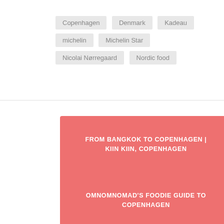Copenhagen
Denmark
Kadeau
michelin
Michelin Star
Nicolai Nørregaard
Nordic food
FROM BANGKOK TO COPENHAGEN | KIIN KIIN, COPENHAGEN
OMNOMNOMAD'S FOODIE GUIDE TO COPENHAGEN